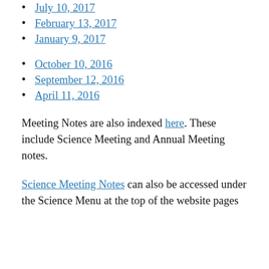July 10, 2017
February 13, 2017
January 9, 2017
October 10, 2016
September 12, 2016
April 11, 2016
Meeting Notes are also indexed here. These include Science Meeting and Annual Meeting notes.
Science Meeting Notes can also be accessed under the Science Menu at the top of the website pages